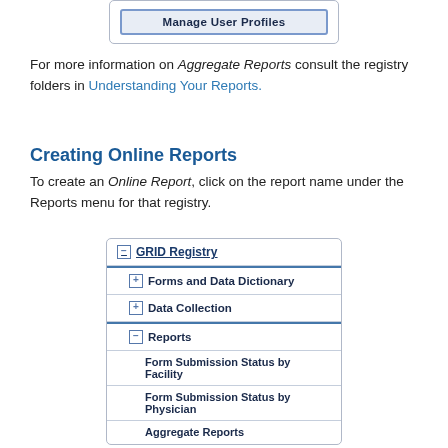[Figure (screenshot): Navigation box showing 'Manage User Profiles' button at the top of the page]
For more information on Aggregate Reports consult the registry folders in Understanding Your Reports.
Creating Online Reports
To create an Online Report, click on the report name under the Reports menu for that registry.
[Figure (screenshot): Navigation tree showing GRID Registry with Forms and Data Dictionary, Data Collection, Reports (expanded), Form Submission Status by Facility, Form Submission Status by Physician, and Aggregate Reports]